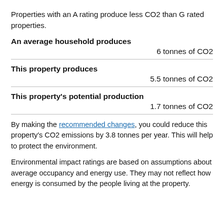Properties with an A rating produce less CO2 than G rated properties.
An average household produces
6 tonnes of CO2
This property produces
5.5 tonnes of CO2
This property's potential production
1.7 tonnes of CO2
By making the recommended changes, you could reduce this property's CO2 emissions by 3.8 tonnes per year. This will help to protect the environment.
Environmental impact ratings are based on assumptions about average occupancy and energy use. They may not reflect how energy is consumed by the people living at the property.